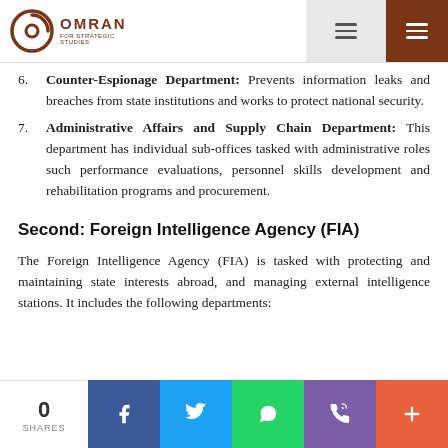OMRAN FOR STRATEGIC STUDIES
6. Counter-Espionage Department: Prevents information leaks and breaches from state institutions and works to protect national security.
7. Administrative Affairs and Supply Chain Department: This department has individual sub-offices tasked with administrative roles such performance evaluations, personnel skills development and rehabilitation programs and procurement.
Second: Foreign Intelligence Agency (FIA)
The Foreign Intelligence Agency (FIA) is tasked with protecting and maintaining state interests abroad, and managing external intelligence stations. It includes the following departments:
0 SHARES | Share on Facebook | Share on Twitter | Share on WhatsApp | Share by Phone | More